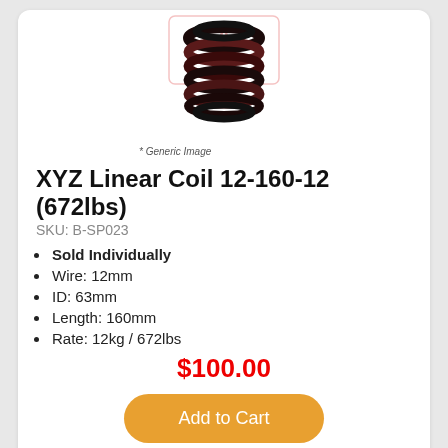[Figure (photo): Coil spring product image with brand logo overlay (generic image)]
* Generic Image
XYZ Linear Coil 12-160-12 (672lbs)
SKU: B-SP023
Sold Individually
Wire: 12mm
ID: 63mm
Length: 160mm
Rate: 12kg / 672lbs
$100.00
Add to Cart
[Figure (photo): Second coil spring product image, partially visible at bottom]